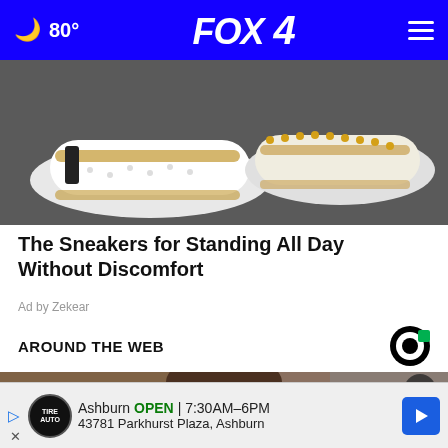FOX 4 — 80° navigation bar
[Figure (photo): Close-up photo of white slip-on sneakers/shoes on a grey background, showing two shoes with gold/tan trim and perforated detailing]
The Sneakers for Standing All Day Without Discomfort
Ad by Zekear
AROUND THE WEB
[Figure (photo): Photo of a man raising his hand, appearing to be at a congressional or official hearing, partially visible face with brown hair]
Ashburn OPEN | 7:30AM–6PM 43781 Parkhurst Plaza, Ashburn